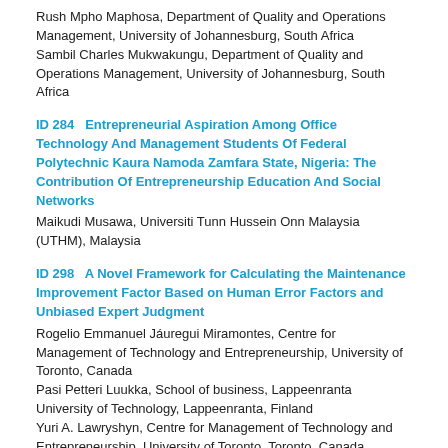Rush Mpho Maphosa, Department of Quality and Operations Management, University of Johannesburg, South Africa
Sambil Charles Mukwakungu, Department of Quality and Operations Management, University of Johannesburg, South Africa
ID 284   Entrepreneurial Aspiration Among Office Technology And Management Students Of Federal Polytechnic Kaura Namoda Zamfara State, Nigeria: The Contribution Of Entrepreneurship Education And Social Networks
Maikudi Musawa, Universiti Tunn Hussein Onn Malaysia (UTHM), Malaysia
ID 298   A Novel Framework for Calculating the Maintenance Improvement Factor Based on Human Error Factors and Unbiased Expert Judgment
Rogelio Emmanuel Jáuregui Miramontes, Centre for Management of Technology and Entrepreneurship, University of Toronto, Canada
Pasi Petteri Luukka, School of business, Lappeenranta University of Technology, Lappeenranta, Finland
Yuri A. Lawryshyn, Centre for Management of Technology and Entrepreneurship, University of Toronto, Toronto, Canada
ID 299  Barriers to the Achievement of Sustainable Construction Project in Nigeria
Sanmi Olowosile, Department of Quantity Surveying, Federal University of Technology Akure, Nigeria
Ayodeji Oke, Sustainable Human Settlement and Construction Research Centre, University of Johannesburg, South Africa